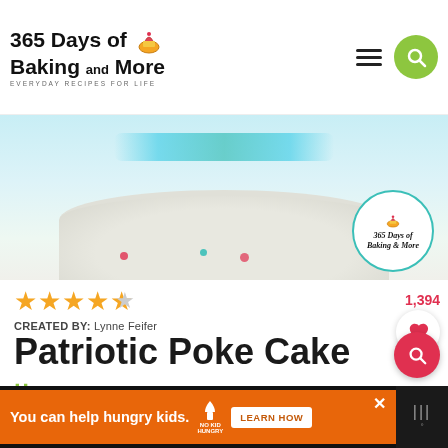365 Days of Baking and More — EVERYDAY RECIPES FOR LIFE
[Figure (photo): Close-up photo of a white round baking dish with a patriotic poke cake topped with blue and red candies/sprinkles. A circular badge watermark reads '365 Days of Baking & More' in the lower right of the image.]
★★★★½
CREATED BY: Lynne Feifer
Patriotic Poke Cake
1,394
COURSE DESSERT
CUISINE AMERICAN
PREP TIME 20 MINUTES
You can help hungry kids. NO KID HUNGRY LEARN HOW ✕